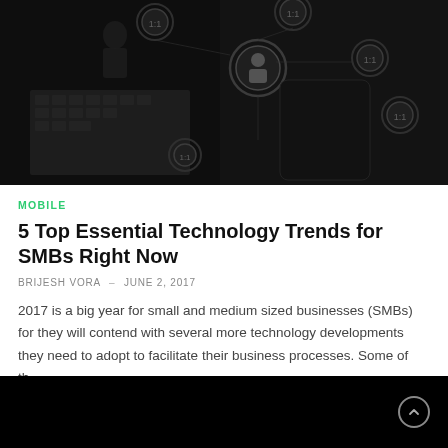[Figure (photo): Dark overlay image of a person using a smartphone with network/social connection icons overlaid, suggesting mobile connectivity and technology]
MOBILE
5 Top Essential Technology Trends for SMBs Right Now
BRIJESH VORA – JUNE 2, 2017
2017 is a big year for small and medium sized businesses (SMBs) for they will contend with several more technology developments they need to adopt to facilitate their business processes. Some of th…
[Figure (photo): Dark/black image at the bottom of the page, partially visible]